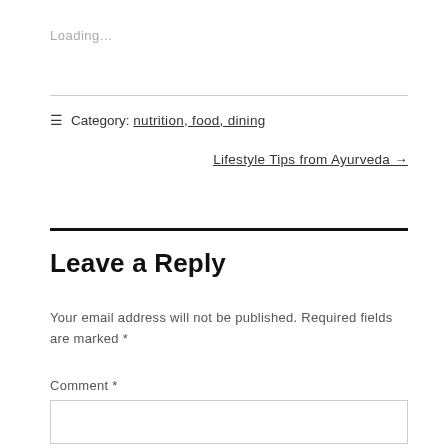Loading...
≡ Category: nutrition, food, dining
Lifestyle Tips from Ayurveda →
Leave a Reply
Your email address will not be published. Required fields are marked *
Comment *